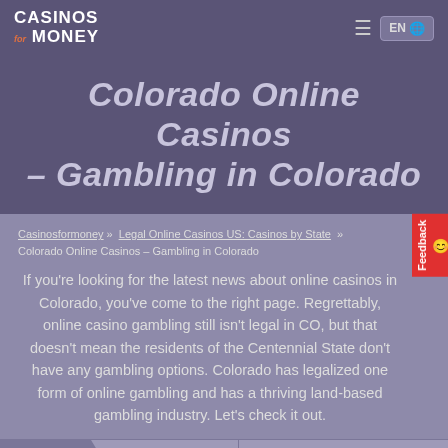Casinos for Money — EN (navigation bar with language selector)
Colorado Online Casinos – Gambling in Colorado
Casinosformoney » Legal Online Casinos US: Casinos by State » Colorado Online Casinos – Gambling in Colorado
If you're looking for the latest news about online casinos in Colorado, you've come to the right page. Regrettably, online casino gambling still isn't legal in CO, but that doesn't mean the residents of the Centennial State don't have any gambling options. Colorado has legalized one form of online gambling and has a thriving land-based gambling industry. Let's check it out.
Jump to: Online Gambling | Land-based Gam